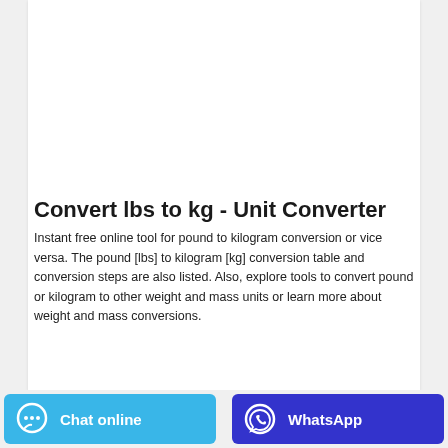[Figure (photo): Two hands wearing blue nitrile/latex gloves photographed from above on a light grey background, fingertips touching in the center.]
Convert lbs to kg - Unit Converter
Instant free online tool for pound to kilogram conversion or vice versa. The pound [lbs] to kilogram [kg] conversion table and conversion steps are also listed. Also, explore tools to convert pound or kilogram to other weight and mass units or learn more about weight and mass conversions.
Chat online
WhatsApp